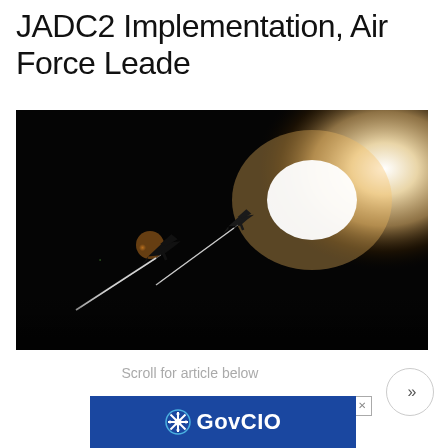JADC2 Implementation, Air Force Leade
[Figure (photo): Two fighter jets silhouetted against a bright glowing light source (sun or explosion), flying at night or in dark sky, leaving bright contrail streaks. Dramatic military aviation photograph with lens flare effects in orange/green hues.]
Scroll for article below
[Figure (logo): GovCIO advertisement banner with blue background, showing GovCIO logo with white snowflake/gear icon and bold white GovCIO text. Close button (X) in top right corner.]